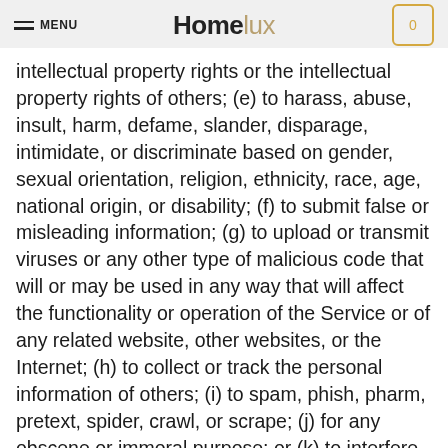MENU | Homelux | 0
intellectual property rights or the intellectual property rights of others; (e) to harass, abuse, insult, harm, defame, slander, disparage, intimidate, or discriminate based on gender, sexual orientation, religion, ethnicity, race, age, national origin, or disability; (f) to submit false or misleading information; (g) to upload or transmit viruses or any other type of malicious code that will or may be used in any way that will affect the functionality or operation of the Service or of any related website, other websites, or the Internet; (h) to collect or track the personal information of others; (i) to spam, phish, pharm, pretext, spider, crawl, or scrape; (j) for any obscene or immoral purpose; or (k) to interfere with or circumvent the security features of the Service or any related website, other websites, or the Internet. We reserve the right to terminate your use of the Service or any related website for violating any of the prohibited uses.